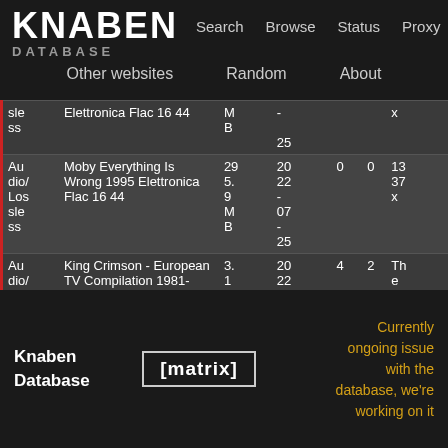KNABEN DATABASE | Search | Browse | Status | Proxy | Other websites | Random | About
| Category | Name | Size | Date | SE | LE | Uploader |
| --- | --- | --- | --- | --- | --- | --- |
| Audio/Lossless | Elettronica Flac 16 44 | MB | 2022-07-25 |  |  | x |
| Audio/Lossless | Moby Everything Is Wrong 1995 Elettronica Flac 16 44 | 295.9 MB | 2022-07-25 | 0 | 0 | 1337x |
| Audio/Video | King Crimson - European TV Compilation 1981- | 3.1 G | 2022-07 | 4 | 2 | The Pirate |
Knaben Database
[matrix]
Currently ongoing issue with the database, we're working on it